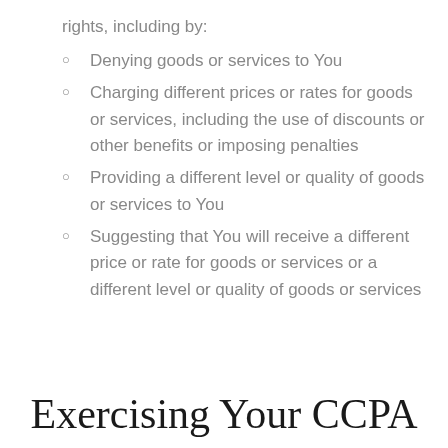rights, including by:
Denying goods or services to You
Charging different prices or rates for goods or services, including the use of discounts or other benefits or imposing penalties
Providing a different level or quality of goods or services to You
Suggesting that You will receive a different price or rate for goods or services or a different level or quality of goods or services
Exercising Your CCPA